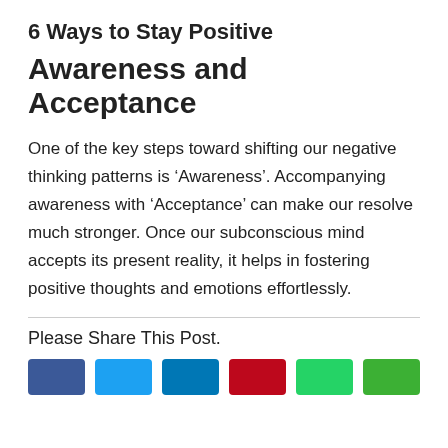6 Ways to Stay Positive
Awareness and Acceptance
One of the key steps toward shifting our negative thinking patterns is ‘Awareness’. Accompanying awareness with ‘Acceptance’ can make our resolve much stronger. Once our subconscious mind accepts its present reality, it helps in fostering positive thoughts and emotions effortlessly.
Please Share This Post.
[Figure (other): Social media share buttons: Facebook (dark blue), Twitter (light blue), LinkedIn (blue), Pinterest (red), WhatsApp (green), and another green button]